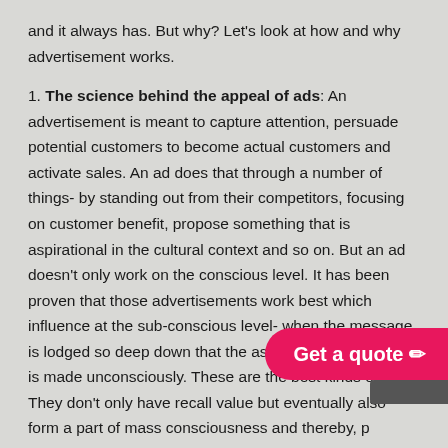and it always has. But why? Let's look at how and why advertisement works.
1. The science behind the appeal of ads: An advertisement is meant to capture attention, persuade potential customers to become actual customers and activate sales. An ad does that through a number of things- by standing out from their competitors, focusing on customer benefit, propose something that is aspirational in the cultural context and so on. But an ad doesn't only work on the conscious level. It has been proven that those advertisements work best which influence at the sub-conscious level- when the message is lodged so deep down that the association to the brand is made unconsciously. These are the best kinds of ads. They don't only have recall value but eventually also form a part of mass consciousness and thereby, p...
2. One-time or long-term advertising: In a world where we